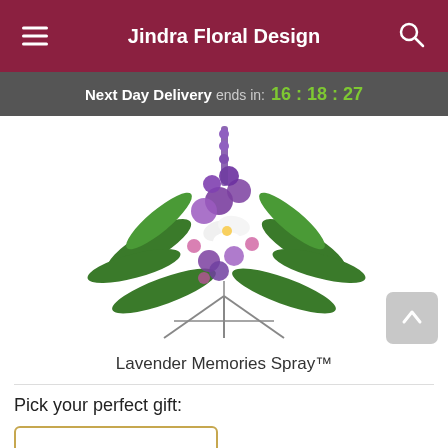Jindra Floral Design
Next Day Delivery ends in: 16:18:27
[Figure (photo): A funeral/sympathy standing spray of purple and white flowers including lilies and purple blooms with green fern leaves, arranged on a metal easel stand.]
Lavender Memories Spray™
Pick your perfect gift: